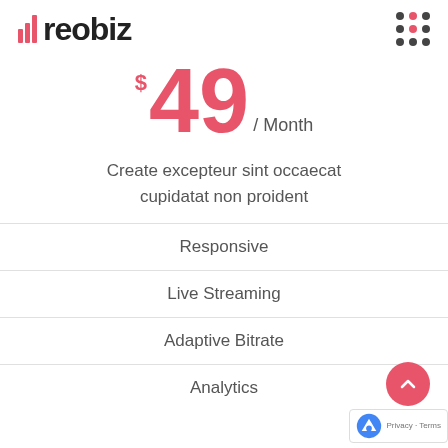reobiz
$49 / Month
Create excepteur sint occaecat cupidatat non proident
Responsive
Live Streaming
Adaptive Bitrate
Analytics